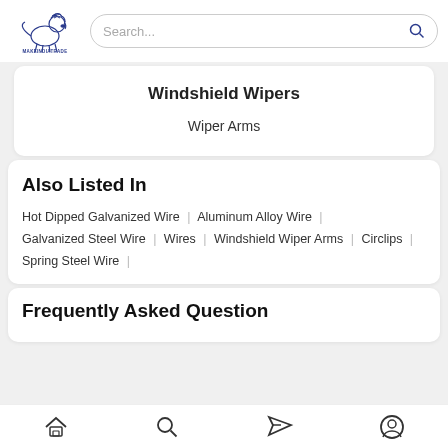[Figure (logo): MakeInIndiaTrade logo with lion illustration and text MAKEINDIATRADE]
Search...
Windshield Wipers
Wiper Arms
Also Listed In
Hot Dipped Galvanized Wire | Aluminum Alloy Wire |
Galvanized Steel Wire | Wires | Windshield Wiper Arms | Circlips |
Spring Steel Wire |
Frequently Asked Question